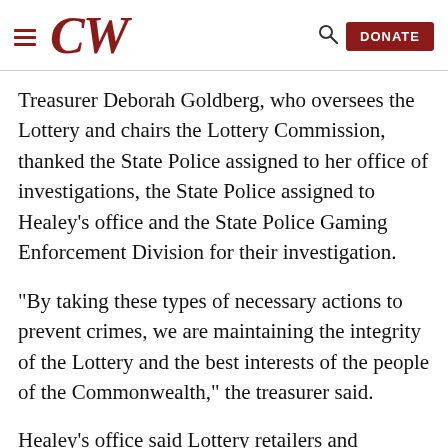CW [logo with hamburger menu, search icon, and DONATE button]
Treasurer Deborah Goldberg, who oversees the Lottery and chairs the Lottery Commission, thanked the State Police assigned to her office of investigations, the State Police assigned to Healey’s office and the State Police Gaming Enforcement Division for their investigation.
“By taking these types of necessary actions to prevent crimes, we are maintaining the integrity of the Lottery and the best interests of the people of the Commonwealth,” the treasurer said.
Healey’s office said Lottery retailers and employees would direct winning tickets and their holders to Frank Clan...